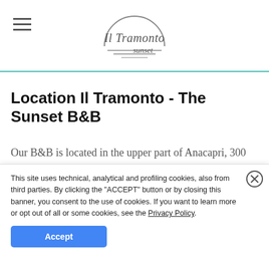Il Tramonto sunset (logo)
Location Il Tramonto - The Sunset B&B
Our B&B is located in the upper part of Anacapri, 300
This site uses technical, analytical and profiling cookies, also from third parties. By clicking the "ACCEPT" button or by closing this banner, you consent to the use of cookies. If you want to learn more or opt out of all or some cookies, see the Privacy Policy.